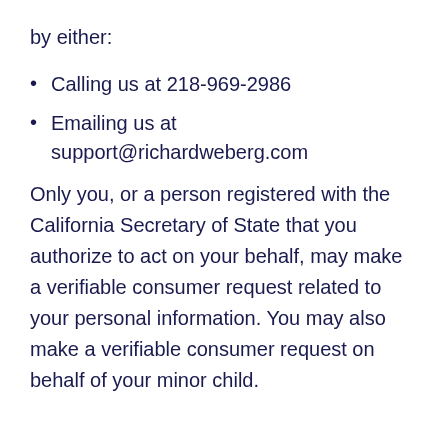by either:
Calling us at 218-969-2986
Emailing us at support@richardweberg.com
Only you, or a person registered with the California Secretary of State that you authorize to act on your behalf, may make a verifiable consumer request related to your personal information. You may also make a verifiable consumer request on behalf of your minor child.